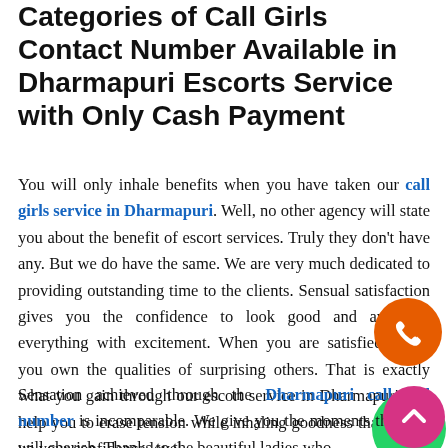Categories of Call Girls Contact Number Available in Dharmapuri Escorts Service with Only Cash Payment
You will only inhale benefits when you have taken our call girls service in Dharmapuri. Well, no other agency will state you about the benefit of escort services. Truly they don't have any. But we do have the same. We are very much dedicated to providing outstanding time to the clients. Sensual satisfaction gives you the confidence to look good and approach everything with excitement. When you are satisfied inside you own the qualities of surprising others. That is exactly what you gain through our escort service in Dharmapuri. We help you to erase tension while inhaling goodness that boosts up your confidence level.
Sensation achieved through the Dharmapuri call girl number is incomparable. We give you the moments that you will cherish. Thanks to the beautiful ladies who